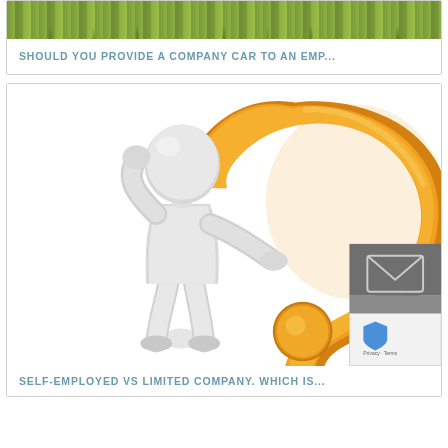[Figure (photo): Grass/lawn background image strip at top of first card]
SHOULD YOU PROVIDE A COMPANY CAR TO AN EMP...
[Figure (illustration): 3D white figure of a person scratching their head next to a large golden 3D question mark. Scroll-up button and reCAPTCHA overlay in bottom-right corner.]
SELF-EMPLOYED VS LIMITED COMPANY. WHICH IS...